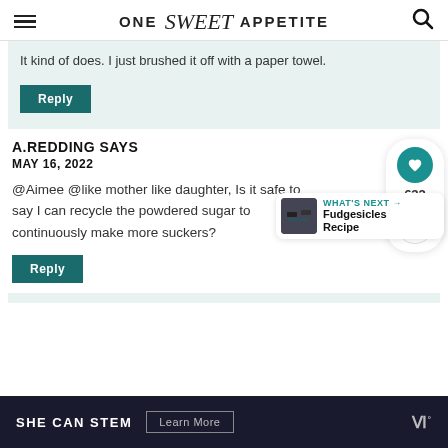ONE Sweet APPETITE
It kind of does. I just brushed it off with a paper towel.
Reply
A.REDDING SAYS
MAY 16, 2022
@Aimee @like mother like daughter, Is it safe to say I can recycle the powdered sugar to continuously make more suckers?
Reply
WHAT'S NEXT → Fudgesicles Recipe
SHE CAN STEM  Learn More